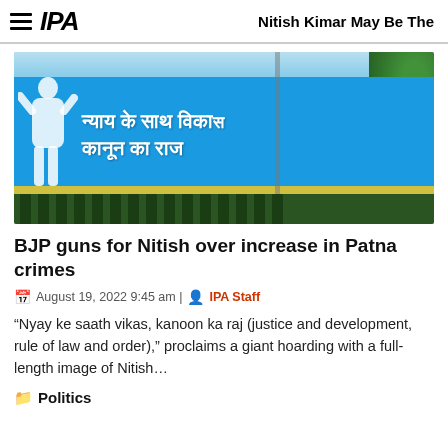IPA | Nitish Kimar May Be The
[Figure (photo): A large blue hoarding/billboard with Hindi text reading 'Nyay ke saath vikas, kanoon ka raj' (justice and development, rule of law and order), with a full-length white silhouette image of a politician on the left side, a yellow stripe at the bottom, and green fence below. Trees visible in background.]
BJP guns for Nitish over increase in Patna crimes
August 19, 2022 9:45 am | IPA Staff
“Nyay ke saath vikas, kanoon ka raj (justice and development, rule of law and order),” proclaims a giant hoarding with a full-length image of Nitish…
Politics